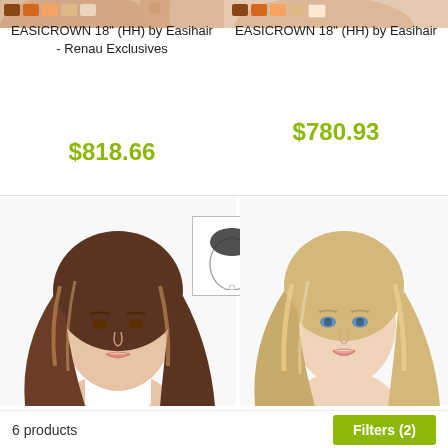[Figure (photo): Cropped top portion of hair product model photos for two EASICROWN 18 HH products]
EASICROWN 18" (HH) by Easihair - Renau Exclusives
EASICROWN 18" (HH) by Easihair
$818.66
$780.93
[Figure (photo): Woman with long brunette highlighted hair, hair topper product model]
[Figure (illustration): Crown/topper placement diagram showing dark shaded area on top of illustrated head]
[Figure (photo): Woman with long blonde hair, hair topper product model]
6 products
Filters (2)